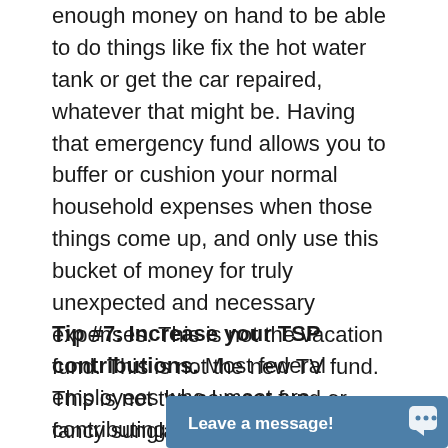enough money on hand to be able to do things like fix the hot water tank or get the car repaired, whatever that might be. Having that emergency fund allows you to buffer or cushion your normal household expenses when those things come up, and only use this bucket of money for truly unexpected and necessary expenses. This is not the vacation fund. This is not the new TV fund. This is not the new car fund or fancy sunglasses fund. This is only for true emergencies.
Tip #7: Increase your TSP contributions. Most federal employees who I meet are contributing to the Thrift Savings Plan (TSP), and I'm always so happy to hear that. TSP is great in many ways, especially wh...
[Figure (other): Live chat widget button at bottom of page reading 'Leave a message!' with a chat bubble icon, styled with a steel-blue background.]